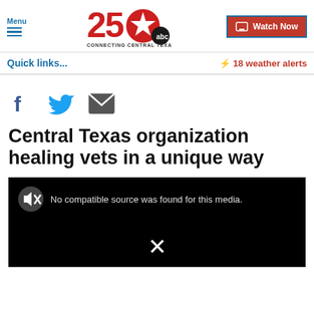Menu | 25 ABC Connecting Central Texas | Watch Now
Quick links...
⚡ 18 weather alerts
[Figure (screenshot): Social sharing icons: Facebook, Twitter, Email]
Central Texas organization healing vets in a unique way
[Figure (screenshot): Video player placeholder showing muted icon and text: No compatible source was found for this media. A large X is shown at the bottom center.]